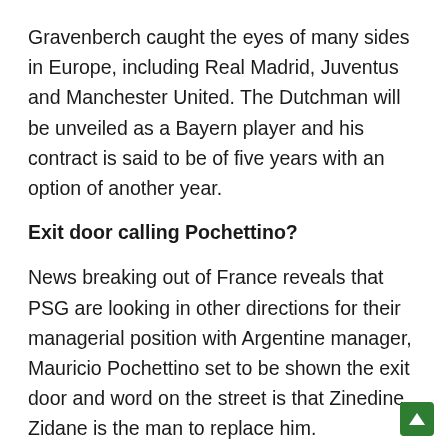Gravenberch caught the eyes of many sides in Europe, including Real Madrid, Juventus and Manchester United. The Dutchman will be unveiled as a Bayern player and his contract is said to be of five years with an option of another year.
Exit door calling Pochettino?
News breaking out of France reveals that PSG are looking in other directions for their managerial position with Argentine manager, Mauricio Pochettino set to be shown the exit door and word on the street is that Zinedine Zidane is the man to replace him.
Zidane is believed to be eyeing the French national team job and will not consider the PSG job but nothing stays the same in football. Top players in the club are believed to b